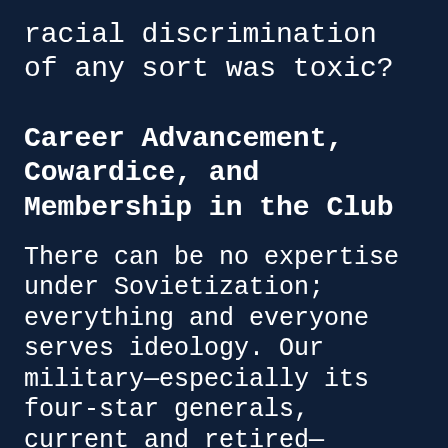racial discrimination of any sort was toxic?
Career Advancement, Cowardice, and Membership in the Club
There can be no expertise under Sovietization; everything and everyone serves ideology. Our military—especially its four-star generals, current and retired—parroted perceived ideologically correct thought. Repeating party lines about diversity, white supremacy, and climate change are far more relevant for career advancement than proof of prior effective military leadership in